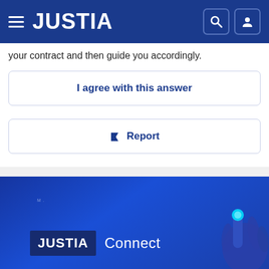JUSTIA
your contract and then guide you accordingly.
I agree with this answer
🏴 Report
[Figure (screenshot): Justia Connect promotional banner with blue gradient background, JUSTIA Connect logo text, and a hand pointer graphic in bottom right corner]